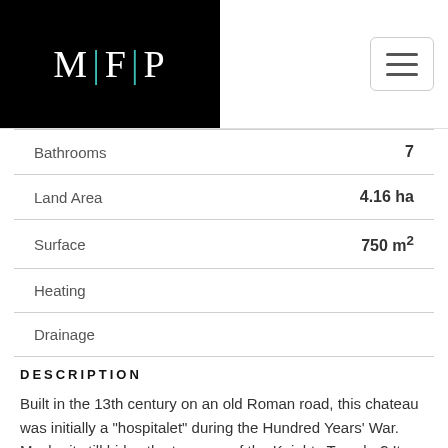MFP logo and navigation
| Property | Value |
| --- | --- |
| Bathrooms | 7 |
| Land Area | 4.16 ha |
| Surface | 750 m² |
| Heating |  |
| Drainage |  |
DESCRIPTION
Built in the 13th century on an old Roman road, this chateau was initially a "hospitalet" during the Hundred Years' War. Maybe it still hides the treasure of the Knights Templar? Its last restoration dates back to 1810 and its Bonapartist owner did not skimp on the decorations, stuccoes and effigies in honour of his